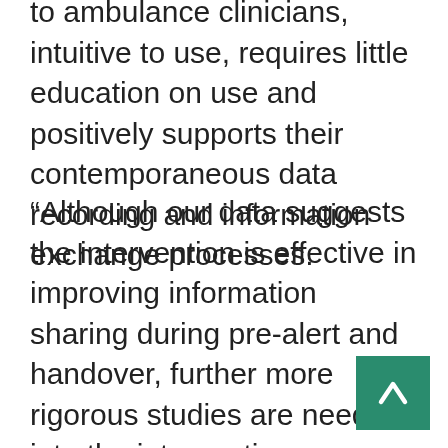to ambulance clinicians, intuitive to use, requires little education on use and positively supports their contemporaneous data recording and information exchange processes.
“Although our data suggests the intervention is effective in improving information sharing during pre-alert and handover, further more rigorous studies are needed into the interventions effectiveness and more generally into prehospital handover. This evidence-based approach will support prehospital clinicians deliver essential clinical